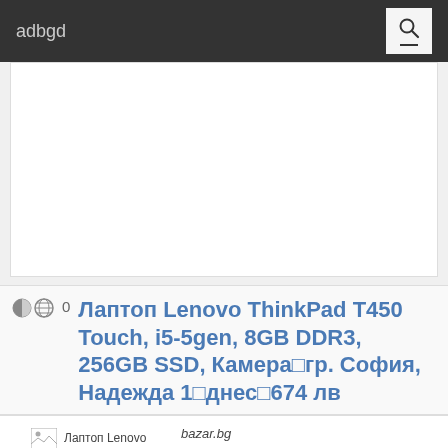adbgd
[Figure (other): Advertisement banner placeholder, white rectangle]
Лаптоп Lenovo ThinkPad T450 Touch, i5-5gen, 8GB DDR3, 256GB SSD, Камера⊡гр. София, Надежда 1⊡днес⊡674 лв
[Figure (photo): Thumbnail image of Лаптоп Lenovo ThinkPad T450 Touch, i5-5gen, 8GB DDR3, 256GB SSD, Камера⊡гр. София, Надежда 1⊡днес⊡674]
bazar.bg
БЕЗПЛАТНА ДОСТАВКА до офис на Еконт! 12 МЕСЕЦА ГАРАНЦИЯ! Собствен сервиз! Всички пратки са с опция преглед и тест преди заплащане! Всички